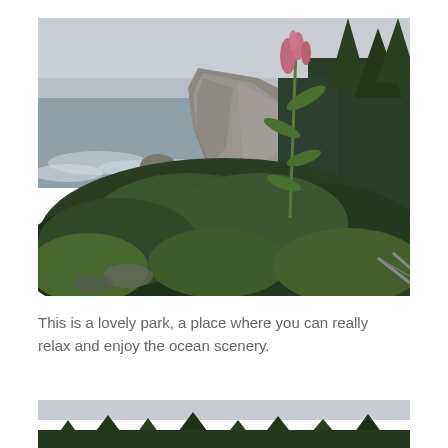[Figure (photo): Coastal landscape photo showing a rocky cliff rising above dense green vegetation including ferns and a tall flowering plant with pink blooms. The ocean is visible in the background with waves crashing, under an overcast grey sky.]
This is a lovely park, a place where you can really relax and enjoy the ocean scenery.
[Figure (photo): Partial bottom photo showing tops of conifer trees against a light sky, cropped at the page edge.]